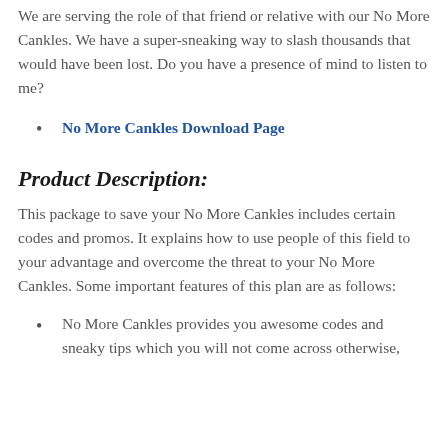We are serving the role of that friend or relative with our No More Cankles. We have a super-sneaking way to slash thousands that would have been lost. Do you have a presence of mind to listen to me?
No More Cankles Download Page
Product Description:
This package to save your No More Cankles includes certain codes and promos. It explains how to use people of this field to your advantage and overcome the threat to your No More Cankles. Some important features of this plan are as follows:
No More Cankles provides you awesome codes and sneaky tips which you will not come across otherwise,